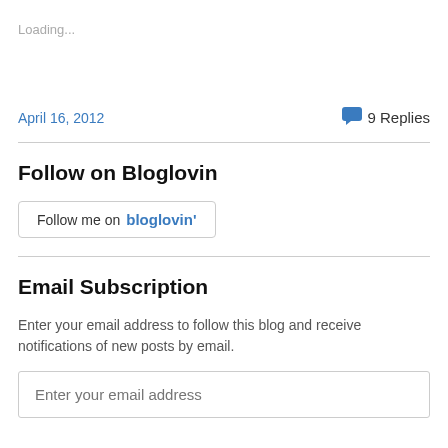Loading...
April 16, 2012
9 Replies
Follow on Bloglovin
[Figure (other): Follow me on bloglovin' button]
Email Subscription
Enter your email address to follow this blog and receive notifications of new posts by email.
Enter your email address